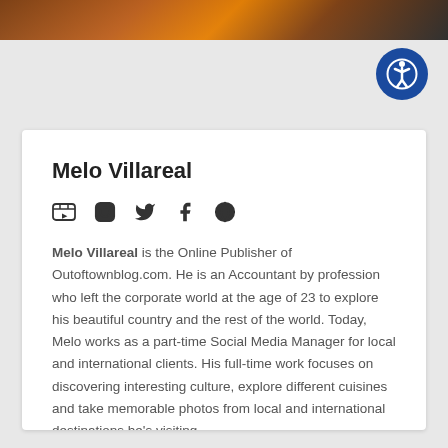[Figure (photo): Top banner image with dark/orange tones, partially visible]
Melo Villareal
Melo Villareal is the Online Publisher of Outoftownblog.com. He is an Accountant by profession who left the corporate world at the age of 23 to explore his beautiful country and the rest of the world. Today, Melo works as a part-time Social Media Manager for local and international clients. His full-time work focuses on discovering interesting culture, explore different cuisines and take memorable photos from local and international destinations he's visiting.